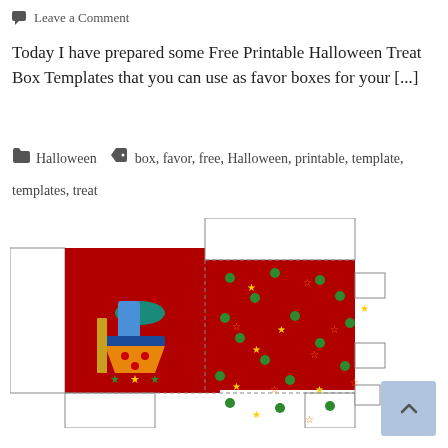💬 Leave a Comment
Today I have prepared some Free Printable Halloween Treat Box Templates that you can use as favor boxes for your [...]
📁 Halloween   🏷 box, favor, free, Halloween, printable, template, templates, treat
[Figure (illustration): A printable Halloween treat box template with red background featuring Halloween candy/cupcake imagery and scattered green dots and small Halloween icons. The template shows the box unfolded with flaps.]